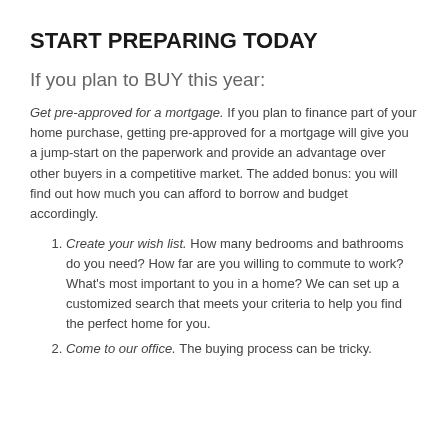START PREPARING TODAY
If you plan to BUY this year:
Get pre-approved for a mortgage. If you plan to finance part of your home purchase, getting pre-approved for a mortgage will give you a jump-start on the paperwork and provide an advantage over other buyers in a competitive market. The added bonus: you will find out how much you can afford to borrow and budget accordingly.
Create your wish list. How many bedrooms and bathrooms do you need? How far are you willing to commute to work? What's most important to you in a home? We can set up a customized search that meets your criteria to help you find the perfect home for you.
Come to our office. The buying process can be tricky.